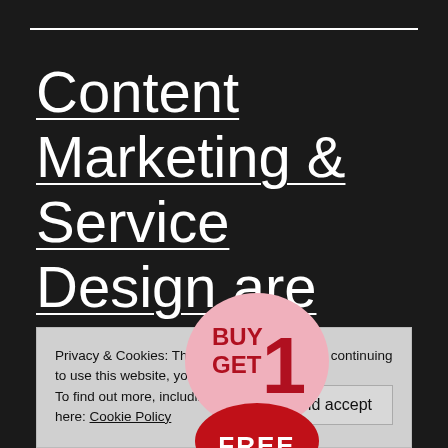Content Marketing & Service Design are the future of Branding
Privacy & Cookies: This site uses cookies. By continuing to use this website, you agree to their use.
To find out more, including how to control cookies, see here: Cookie Policy
Close and accept
[Figure (other): Promotional badge: pink circle with 'BUY 1 GET 1' text in dark red, overlapping red semicircle with 'FREE' text in white]